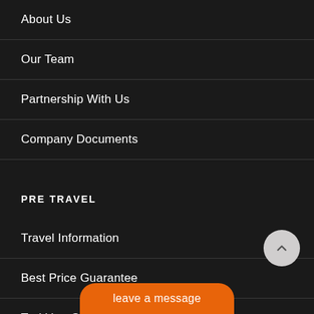About Us
Our Team
Partnership With Us
Company Documents
PRE TRAVEL
Travel Information
Best Price Guarantee
Trekking Gear List
leave a message